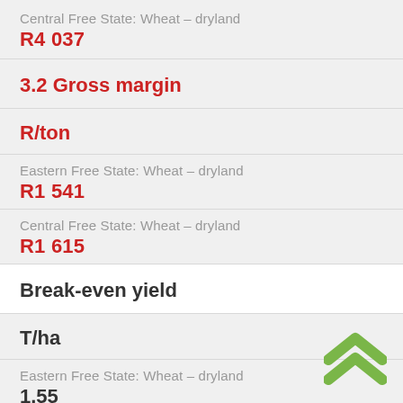Central Free State: Wheat - dryland
R4 037
3.2 Gross margin
R/ton
Eastern Free State: Wheat - dryland
R1 541
Central Free State: Wheat - dryland
R1 615
Break-even yield
T/ha
Eastern Free State: Wheat - dryland
1.55
Central Free State: Wheat - dryland